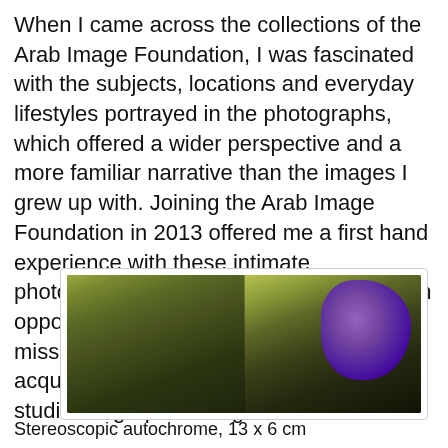When I came across the collections of the Arab Image Foundation, I was fascinated with the subjects, locations and everyday lifestyles portrayed in the photographs, which offered a wider perspective and a more familiar narrative than the images I grew up with. Joining the Arab Image Foundation in 2013 offered me a first hand experience with these intimate photographs from my region's past, and an opportunity to contribute to the institution's mission in digitisation, using the skills I acquired throughout my undergraduate studies in graphic design.
[Figure (photo): A stereoscopic autochrome photograph showing a landscape with trees and figures on the left panel, and a large purple/violet blob or stain on the right panel, indicating chemical deterioration of the autochrome. 13 x 6 cm.]
Stereoscopic autochrome, 13 x 6 cm